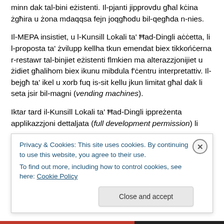minn dak tal-bini eżistenti. Il-pjanti jipprovdu għal kċina żgħira u żona mdaqqsa fejn joqgħodu bil-qegħda n-nies.
Il-MEPA insistiet, u l-Kunsill Lokali ta' Ħad-Dingli aċċetta, li l-proposta ta' żvilupp kellha tkun emendat biex tikkońċerna r-restawr tal-binjiet eżistenti flmkien ma alterazzjonijiet u żidiet għalihom biex ikunu mibdula f'ċentru interpretattiv. Il-bejgħ ta' ikel u xorb fuq is-sit kellu jkun limitat għal dak li seta jsir bil-magni (vending machines).
Iktar tard il-Kunsill Lokali ta' Ħad-Dingli ippreżenta applikazzjoni dettaljata (full development permission) li
Privacy & Cookies: This site uses cookies. By continuing to use this website, you agree to their use.
To find out more, including how to control cookies, see here: Cookie Policy